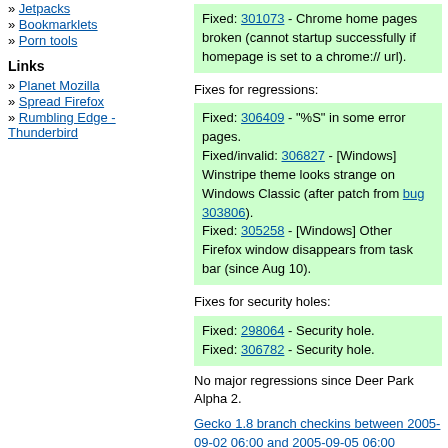» Jetpacks
» Bookmarklets
» Porn tools
Links
» Planet Mozilla
» Spread Firefox
» Rumbling Edge - Thunderbird
Fixed: 301073 - Chrome home pages broken (cannot startup successfully if homepage is set to a chrome:// url).
Fixes for regressions:
Fixed: 306409 - "%S" in some error pages.
Fixed/invalid: 306827 - [Windows] Winstripe theme looks strange on Windows Classic (after patch from bug 303806).
Fixed: 305258 - [Windows] Other Firefox window disappears from task bar (since Aug 10).
Fixes for security holes:
Fixed: 298064 - Security hole.
Fixed: 306782 - Security hole.
No major regressions since Deer Park Alpha 2.
Gecko 1.8 branch checkins between 2005-09-02 06:00 and 2005-09-05 06:00
Windows nightly, Windows hourly (discussion)